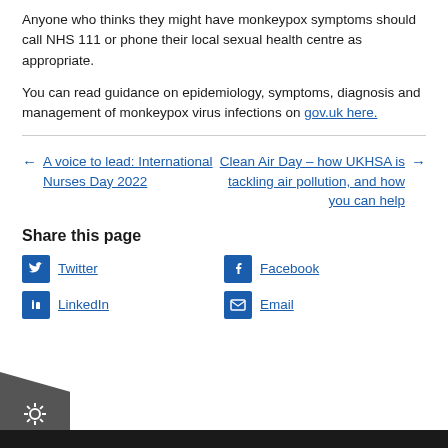Anyone who thinks they might have monkeypox symptoms should call NHS 111 or phone their local sexual health centre as appropriate.
You can read guidance on epidemiology, symptoms, diagnosis and management of monkeypox virus infections on gov.uk here.
← A voice to lead: International Nurses Day 2022
Clean Air Day – how UKHSA is tackling air pollution, and how you can help →
Share this page
Twitter
Facebook
LinkedIn
Email